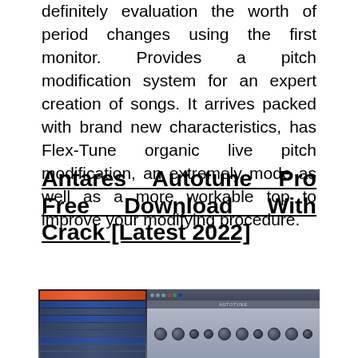definitely evaluation the worth of period changes using the first monitor. Provides a pitch modification system for an expert creation of songs. It arrives packed with brand new characteristics, has Flex-Tune organic live pitch modification, an extremely mode as well as a more workable top to improve your modifying procedure.
Antares Autotune Pro Free Download With Crack [Latest 2022]
[Figure (screenshot): Screenshot of Antares AutoTune Pro software interface showing a DAW with the AutoTune plugin window open, displaying knobs, controls, and a dark UI]